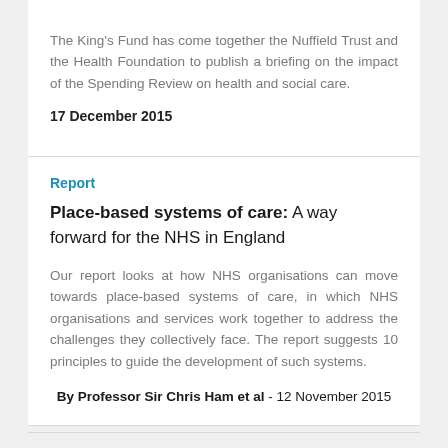The King's Fund has come together the Nuffield Trust and the Health Foundation to publish a briefing on the impact of the Spending Review on health and social care.
17 December 2015
Report
Place-based systems of care: A way forward for the NHS in England
Our report looks at how NHS organisations can move towards place-based systems of care, in which NHS organisations and services work together to address the challenges they collectively face. The report suggests 10 principles to guide the development of such systems.
By Professor Sir Chris Ham et al - 12 November 2015